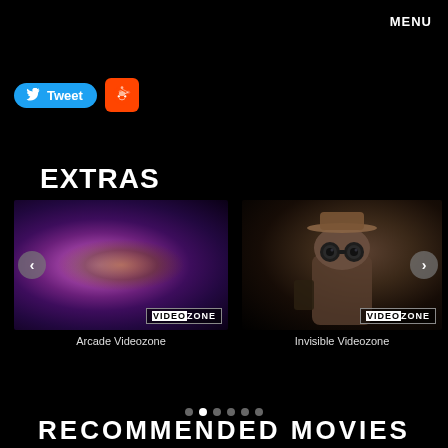MENU
[Figure (screenshot): Twitter Tweet button (blue rounded) and Reddit button (orange square with alien logo)]
EXTRAS
[Figure (photo): Arcade Videozone thumbnail - abstract colorful purple/pink nebula image with VIDEOZONE badge, left navigation arrow]
Arcade Videozone
[Figure (photo): Invisible Videozone thumbnail - dark image of a fabric character wearing goggles/binoculars and hat, with VIDEOZONE badge, right navigation arrow]
Invisible Videozone
RECOMMENDED MOVIES